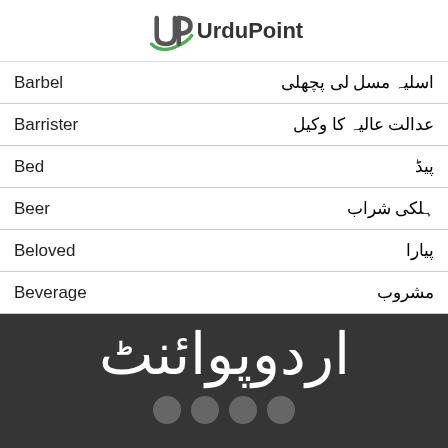UrduPoint
| English | Urdu |
| --- | --- |
| Barbel | اسلیہ مسل لی پچھلی |
| Barrister | عدالت عالیہ کا وکیل |
| Bed | پیڈ |
| Beer | ہلکی شراب |
| Beloved | پیارا |
| Beverage | مشروب |
[Figure (logo): UrduPoint Urdu logo text on dark background with social media icons]